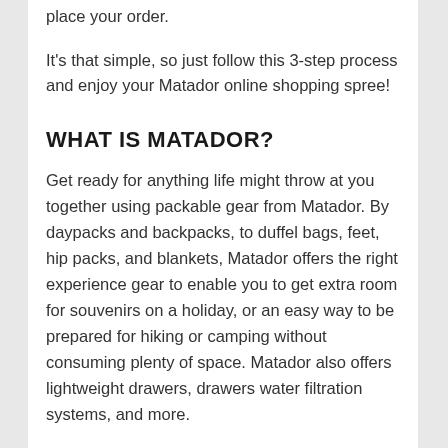place your order.
It's that simple, so just follow this 3-step process and enjoy your Matador online shopping spree!
WHAT IS MATADOR?
Get ready for anything life might throw at you together using packable gear from Matador. By daypacks and backpacks, to duffel bags, feet, hip packs, and blankets, Matador offers the right experience gear to enable you to get extra room for souvenirs on a holiday, or an easy way to be prepared for hiking or camping without consuming plenty of space. Matador also offers lightweight drawers, drawers water filtration systems, and more.